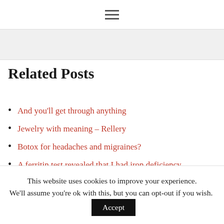[Figure (other): Hamburger menu icon with three horizontal lines]
[Figure (other): Gray banner strip at top of content area]
Related Posts
And you'll get through anything
Jewelry with meaning – Rellery
Botox for headaches and migraines?
A ferritin test revealed that I had iron deficiency
2019
This website uses cookies to improve your experience. We'll assume you're ok with this, but you can opt-out if you wish. Accept